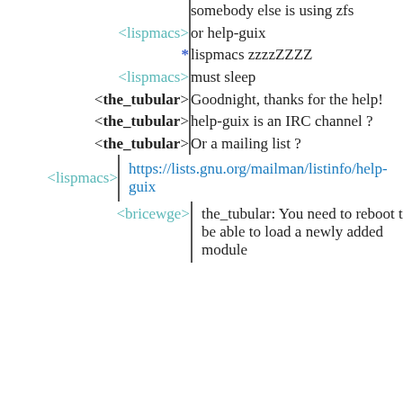somebody else is using zfs
<lispmacs> | or help-guix
* | lispmacs zzzzZZZZ
<lispmacs> | must sleep
<the_tubular> | Goodnight, thanks for the help!
<the_tubular> | help-guix is an IRC channel ?
<the_tubular> | Or a mailing list ?
<lispmacs> | https://lists.gnu.org/mailman/listinfo/help-guix
<bricewge> | the_tubular: You need to reboot to be able to load a newly added module